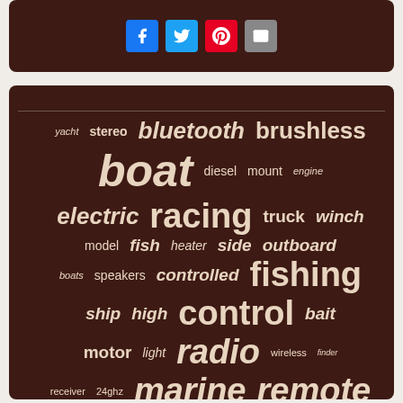[Figure (infographic): Social media share buttons: Facebook, Twitter, Pinterest, Email on dark brown background panel]
[Figure (infographic): Tag cloud word art on dark brown background with boat-related keywords in varying sizes: yacht, stereo, bluetooth, brushless, boat, diesel, mount, engine, electric, racing, truck, winch, model, fish, heater, side, outboard, boats, speakers, controlled, fishing, ship, high, control, bait, motor, light, radio, wireless, finder, receiver, 24ghz, marine, remote, speed]